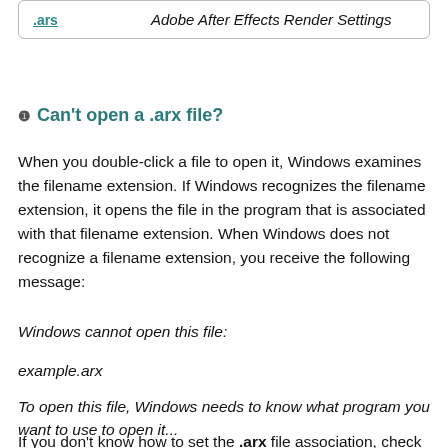| .ars | Adobe After Effects Render Settings |
❶ Can't open a .arx file?
When you double-click a file to open it, Windows examines the filename extension. If Windows recognizes the filename extension, it opens the file in the program that is associated with that filename extension. When Windows does not recognize a filename extension, you receive the following message:
Windows cannot open this file:
example.arx
To open this file, Windows needs to know what program you want to use to open it...
If you don't know how to set the .arx file association, check